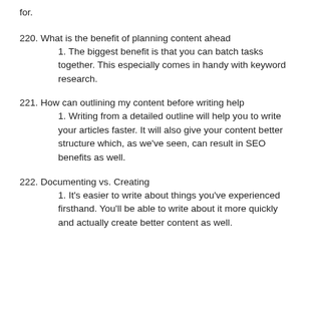for.
220. What is the benefit of planning content ahead
1. The biggest benefit is that you can batch tasks together. This especially comes in handy with keyword research.
221. How can outlining my content before writing help
1. Writing from a detailed outline will help you to write your articles faster. It will also give your content better structure which, as we've seen, can result in SEO benefits as well.
222. Documenting vs. Creating
1. It's easier to write about things you've experienced firsthand. You'll be able to write about it more quickly and actually create better content as well.